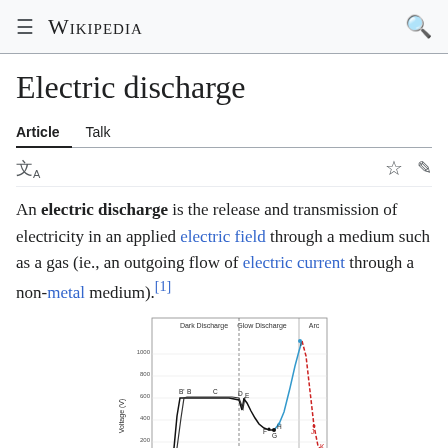Wikipedia
Electric discharge
Article  Talk
An electric discharge is the release and transmission of electricity in an applied electric field through a medium such as a gas (ie., an outgoing flow of electric current through a non-metal medium).[1]
[Figure (continuous-plot): Voltage (V) vs current graph showing regions of Dark Discharge, Glow Discharge, and Arc. Points labeled A' through K along curves. Black curve shows dark/glow discharge regions, blue and red dashed curves show glow-to-arc transition. X-axis is current, y-axis is Voltage (V) from 0 to 1000.]